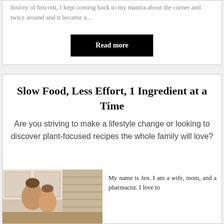history of biscotti, I kept coming back to my mantra about the corner and twice around and it became a...
Read more
Slow Food, Less Effort, 1 Ingredient at a Time
Are you striving to make a lifestyle change or looking to discover plant-focused recipes the whole family will love?
[Figure (photo): Photo of a woman in a kitchen]
My name is Jen. I am a wife, mom, and a pharmacist. I love to